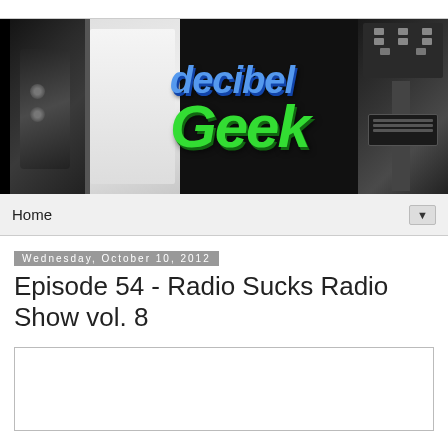[Figure (photo): Decibel Geek website banner with guitars in black and white on left and right, and 'decibel Geek' logo text in blue and green in the center]
Home ▼
Wednesday, October 10, 2012
Episode 54 - Radio Sucks Radio Show vol. 8
[Figure (other): Empty bordered content box]